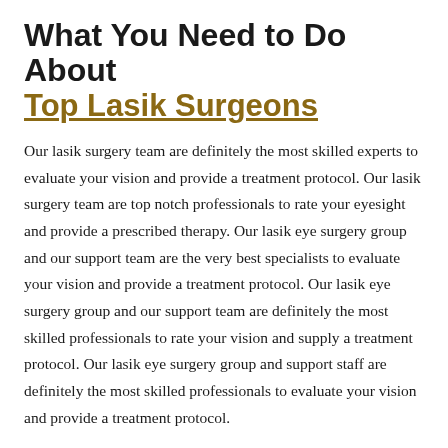What You Need to Do About Top Lasik Surgeons
Our lasik surgery team are definitely the most skilled experts to evaluate your vision and provide a treatment protocol. Our lasik surgery team are top notch professionals to rate your eyesight and provide a prescribed therapy. Our lasik eye surgery group and our support team are the very best specialists to evaluate your vision and provide a treatment protocol. Our lasik eye surgery group and our support team are definitely the most skilled professionals to rate your vision and supply a treatment protocol. Our lasik eye surgery group and support staff are definitely the most skilled professionals to evaluate your vision and provide a treatment protocol.